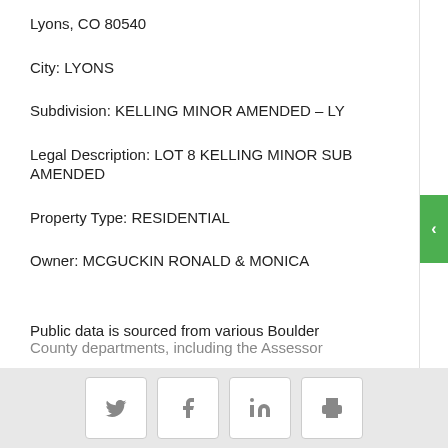Lyons, CO 80540
City: LYONS
Subdivision: KELLING MINOR AMENDED – LY
Legal Description: LOT 8 KELLING MINOR SUB AMENDED
Property Type: RESIDENTIAL
Owner: MCGUCKIN RONALD & MONICA
Public data is sourced from various Boulder County departments, including the Assessor